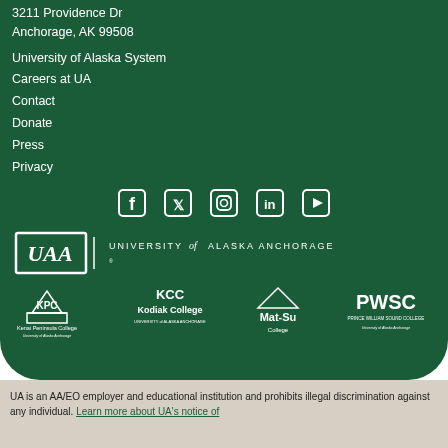3211 Providence Dr
Anchorage, AK 99508
University of Alaska System
Careers at UA
Contact
Donate
Press
Privacy
[Figure (logo): Social media icons: Facebook, Twitter, Instagram, LinkedIn, YouTube]
[Figure (logo): UAA University of Alaska Anchorage logo]
[Figure (logo): KPC Kenai Peninsula College logo, Kodiak College University of Alaska Anchorage logo, Mat-Su College logo, PWSC Prince William Sound College logo]
UA is an AA/EO employer and educational institution and prohibits illegal discrimination against any individual. Learn more about UA's notice of